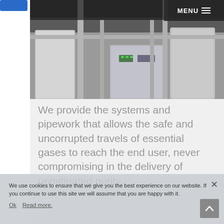[Figure (photo): Industrial facility interior showing stainless steel tanks, pipes, control panels with green indicator lights, and industrial equipment]
MENU
We provide the systems and pipework that allows the safe and uncorrupted travels of essential gases to reach the end user, never compromising in the delivery of unmitigated purity.
We use cookies to ensure that we give you the best experience on our website. If you continue to use this site we will assume that you are happy with it.
Ok   Read more.